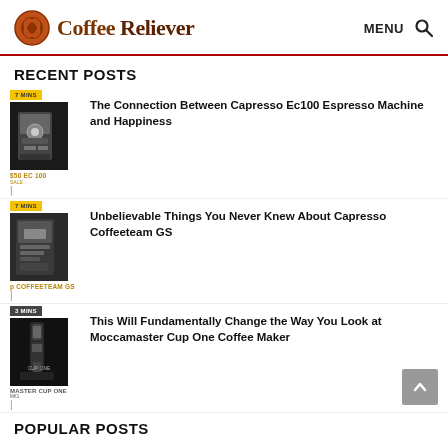Coffee Reliever — MENU 🔍
RECENT POSTS
[Figure (photo): Espresso machine thumbnail for post 1]
The Connection Between Capresso Ec100 Espresso Machine and Happiness
[Figure (photo): Espresso machine thumbnail for post 2]
Unbelievable Things You Never Knew About Capresso Coffeeteam GS
[Figure (photo): Coffee maker thumbnail for post 3]
This Will Fundamentally Change the Way You Look at Moccamaster Cup One Coffee Maker
POPULAR POSTS